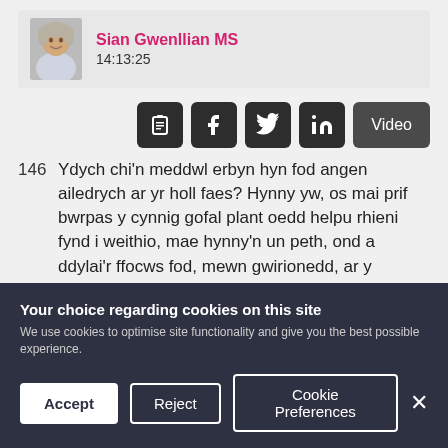Sian Gwenllian MS
14:13:25
[Figure (screenshot): Share/action icon buttons: clipboard, Facebook, Twitter, LinkedIn, and a Video button]
146  Ydych chi'n meddwl erbyn hyn fod angen ailedrych ar yr holl faes? Hynny yw, os mai prif bwrpas y cynnig gofal plant oedd helpu rhieni fynd i weithio, mae hynny'n un peth, ond a ddylai'r ffocws fod, mewn gwirionedd, ar y plentyn ac ar gefnogi datblygiad blynyddoedd cynnar plentyn? Mae'r cyfnod COVID wedi dangos pa mor bwysig yddr-r...
Your choice regarding cookies on this site
We use cookies to optimise site functionality and give you the best possible experience.
Accept  Reject  Cookie Preferences